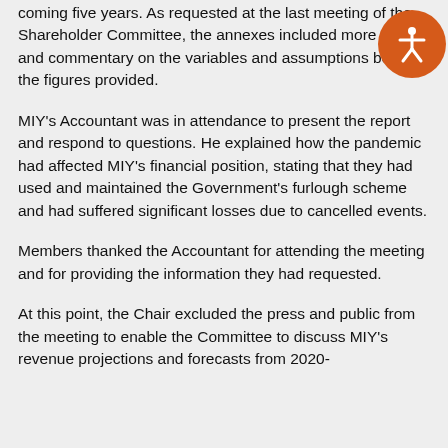coming five years. As requested at the last meeting of the Shareholder Committee, the annexes included more detail and commentary on the variables and assumptions behind the figures provided.
MIY's Accountant was in attendance to present the report and respond to questions. He explained how the pandemic had affected MIY's financial position, stating that they had used and maintained the Government's furlough scheme and had suffered significant losses due to cancelled events.
Members thanked the Accountant for attending the meeting and for providing the information they had requested.
At this point, the Chair excluded the press and public from the meeting to enable the Committee to discuss MIY's revenue projections and forecasts from 2020-